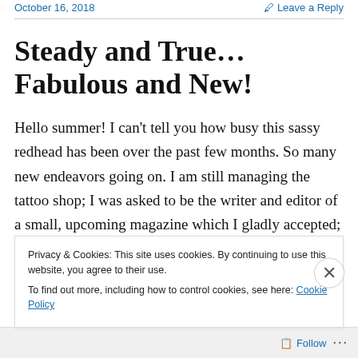October 16, 2018   Leave a Reply
Steady and True… Fabulous and New!
Hello summer! I can't tell you how busy this sassy redhead has been over the past few months. So many new endeavors going on. I am still managing the tattoo shop; I was asked to be the writer and editor of a small, upcoming magazine which I gladly accepted; and I was chosen to be
Privacy & Cookies: This site uses cookies. By continuing to use this website, you agree to their use.
To find out more, including how to control cookies, see here: Cookie Policy
Close and accept
Follow ...